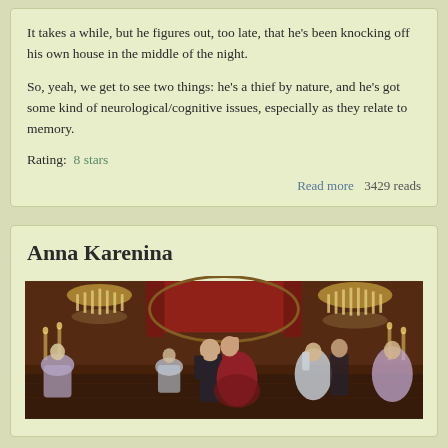It takes a while, but he figures out, too late, that he's been knocking off his own house in the middle of the night.
So, yeah, we get to see two things: he's a thief by nature, and he's got some kind of neurological/cognitive issues, especially as they relate to memory.
Rating:  8 stars
Read more  3429 reads
Anna Karenina
[Figure (photo): A ballroom dance scene with elegantly dressed couples dancing in an ornate room with chandeliers and candles, appearing to be from a period film adaptation of Anna Karenina.]